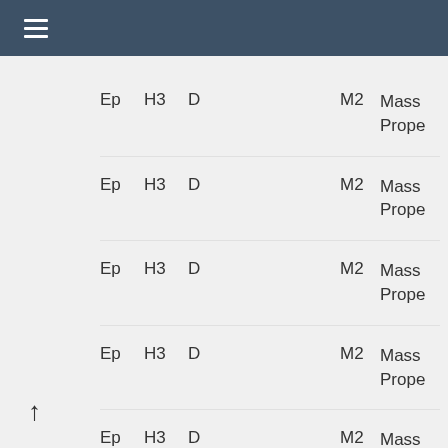☰
| Ep | H3 | D |  | M2 | Mass Prope |
| --- | --- | --- | --- | --- | --- |
| Ep | H3 | D |  | M2 | Mass
Prope |
| Ep | H3 | D |  | M2 | Mass
Prope |
| Ep | H3 | D |  | M2 | Mass
Prope |
| Ep | H3 | D |  | M2 | Mass
Prope |
| Ep | H3 | D |  | M2 | Mass
Prope |
| Ep | H3 | D |  | M2 | Mass |